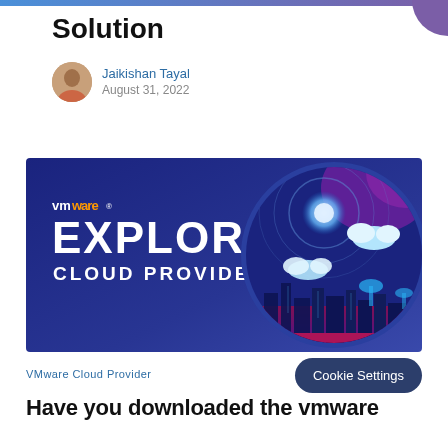Solution
Jaikishan Tayal
August 31, 2022
[Figure (illustration): VMware Explore Cloud Provider banner image with dark blue/purple gradient background, VMware logo, EXPLORE text in large white bold letters, CLOUD PROVIDER subtitle, and a circular graphic showing a stylized city skyline with clouds and glowing orbs on the right side.]
VMware Cloud Provider
Cookie Settings
Have you downloaded the vmware